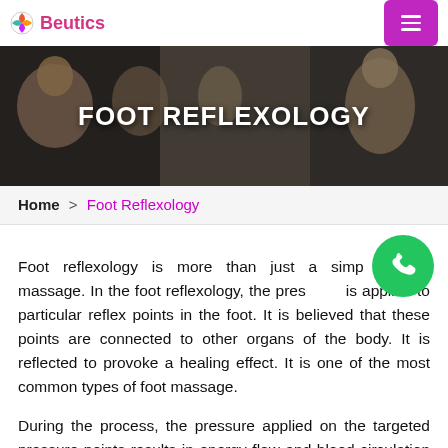Beutics
[Figure (photo): Hero banner with collage of salon/beauty photos and the text FOOT REFLEXOLOGY overlaid in white bold letters]
FOOT REFLEXOLOGY
Home > Foot Reflexology
Foot reflexology is more than just a simple foot massage. In the foot reflexology, the pressure is applied to particular reflex points in the foot. It is believed that these points are connected to other organs of the body. It is reflected to provoke a healing effect. It is one of the most common types of foot massage.
During the process, the pressure applied on the targeted pressure points results in energy flow and blood circulation to the entire body. There are so